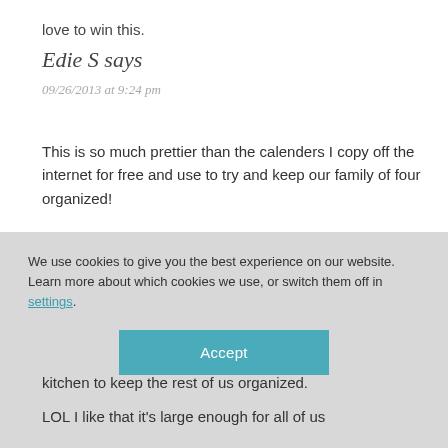love to win this.
Edie S says
09/26/2013 at 9:24 pm
This is so much prettier than the calenders I copy off the internet for free and use to try and keep our family of four organized!
We use cookies to give you the best experience on our website.
Learn more about which cookies we use, or switch them off in settings.
Accept
kitchen to keep the rest of us organized.
LOL I like that it's large enough for all of us